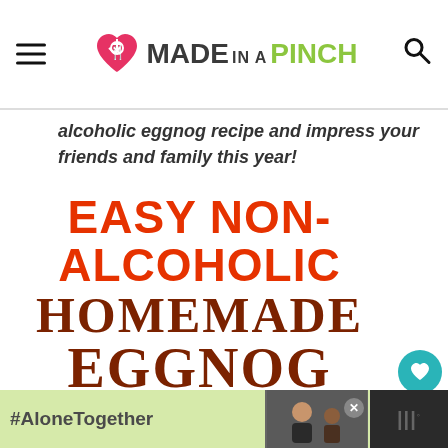MADE IN A PINCH
alcoholic eggnog recipe and impress your friends and family this year!
EASY NON-ALCOHOLIC HOMEMADE EGGNOG
[Figure (photo): Photo strip of homemade eggnog in a mug with holiday decorations]
[Figure (screenshot): Advertisement banner: #AloneTogether with image of father and child]
[Figure (logo): Mobile app logo icon on right side of ad]